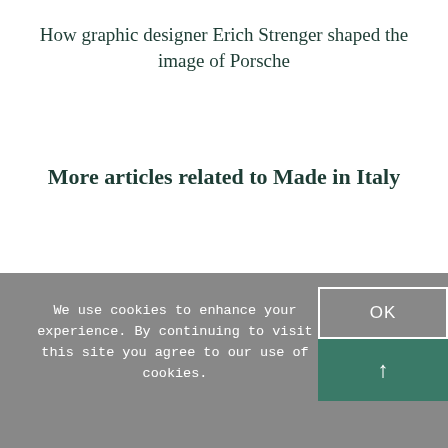How graphic designer Erich Strenger shaped the image of Porsche
More articles related to Made in Italy
We use cookies to enhance your experience. By continuing to visit this site you agree to our use of cookies.